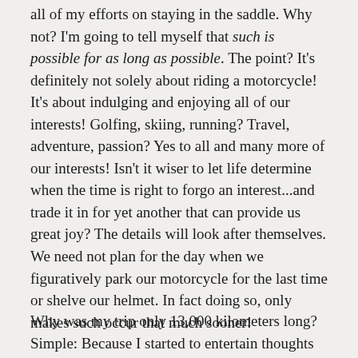all of my efforts on staying in the saddle. Why not? I'm going to tell myself that such is possible for as long as possible. The point? It's definitely not solely about riding a motorcycle! It's about indulging and enjoying all of our interests! Golfing, skiing, running? Travel, adventure, passion? Yes to all and many more of our interests! Isn't it wiser to let life determine when the time is right to forgo an interest...and trade it in for yet another that can provide us great joy? The details will look after themselves. We need not plan for the day when we figuratively park our motorcycle for the last time or shelve our helmet. In fact doing so, only makes such occur that much sooner!
Why was my trip only 13,000 kilometers long? Simple: Because I started to entertain thoughts